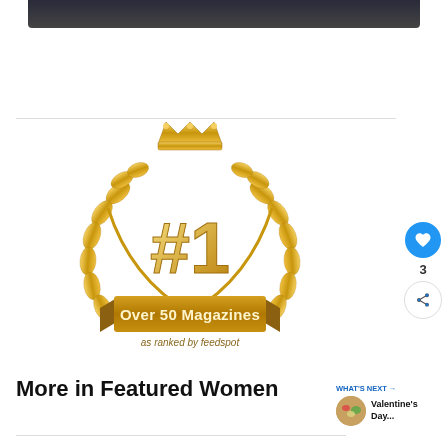[Figure (photo): Dark mountain or landscape image at the top of the page, partially cropped]
[Figure (illustration): Gold #1 award badge with laurel wreath, crown, ribbon banner reading 'Over 50 Magazines', and text 'as ranked by feedspot']
More in Featured Women